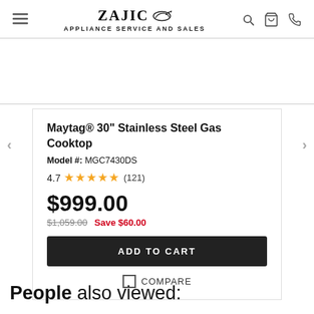ZAJIC APPLIANCE SERVICE AND SALES
Maytag® 30" Stainless Steel Gas Cooktop
Model #: MGC7430DS
4.7 ★★★★★ (121)
$999.00
$1,059.00  Save $60.00
ADD TO CART
COMPARE
People also viewed: